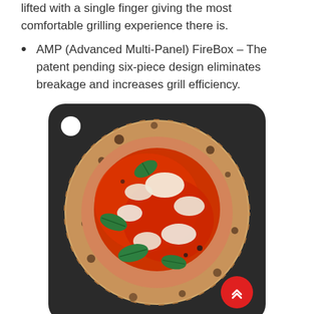lifted with a single finger giving the most comfortable grilling experience there is.
AMP (Advanced Multi-Panel) FireBox – The patent pending six-piece design eliminates breakage and increases grill efficiency.
[Figure (photo): A Margherita pizza with tomato sauce, mozzarella cheese, and fresh basil leaves, placed on a dark rounded rectangular board with a white circle hole in the top-left corner. A red circular scroll-up button is visible at the bottom-right.]